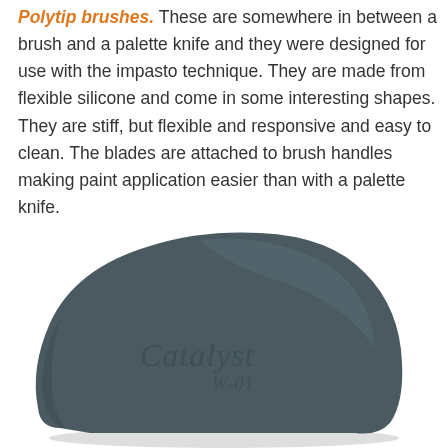Polytip brushes. These are somewhere in between a brush and a palette knife and they were designed for use with the impasto technique. They are made from flexible silicone and come in some interesting shapes. They are stiff, but flexible and responsive and easy to clean. The blades are attached to brush handles making paint application easier than with a palette knife.
[Figure (photo): A dark grey/slate colored silicone wedge-shaped palette knife blade with the Catalyst W-01 logo embossed on its surface, photographed on a white background.]